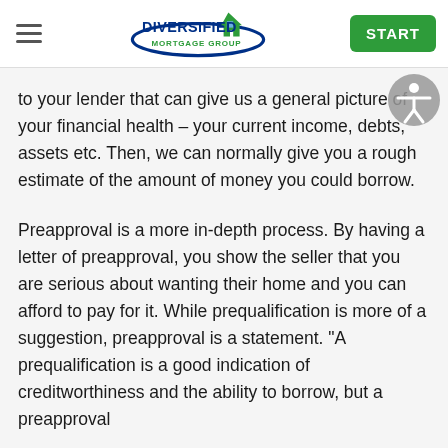Diversified Mortgage Group — START
to your lender that can give us a general picture of your financial health – your current income, debts, assets etc. Then, we can normally give you a rough estimate of the amount of money you could borrow.
Preapproval is a more in-depth process. By having a letter of preapproval, you show the seller that you are serious about wanting their home and you can afford to pay for it. While prequalification is more of a suggestion, preapproval is a statement. "A prequalification is a good indication of creditworthiness and the ability to borrow, but a preapproval is the definitive word on...